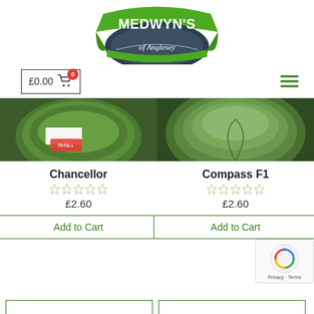[Figure (logo): Medwyn's of Anglesey green ribbon logo with dark oval and italic text]
£0.00  [cart icon with badge 0]
[Figure (photo): Two cabbage product photos side by side: left shows a cabbage with labels/tags, right shows a fresh green cabbage head close-up]
Chancellor
Compass F1
£2.60
£2.60
Add to Cart
Add to Cart
[Figure (other): Google reCAPTCHA badge with Privacy and Terms text]